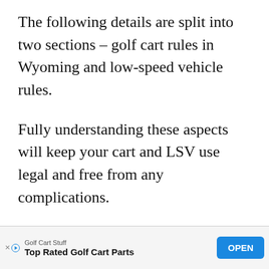The following details are split into two sections – golf cart rules in Wyoming and low-speed vehicle rules.
Fully understanding these aspects will keep your cart and LSV use legal and free from any complications.
[Figure (other): Advertisement banner for 'Golf Cart Stuff' — Top Rated Golf Cart Parts, with an OPEN button]